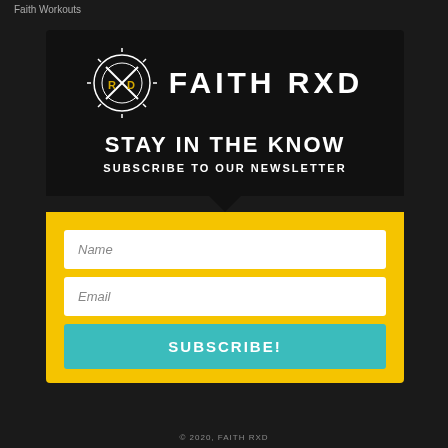Faith Workouts
[Figure (screenshot): Faith RXD newsletter subscription popup modal with black header containing logo and brand name, yellow form section with Name and Email fields, and teal Subscribe button]
STAY IN THE KNOW
SUBSCRIBE TO OUR NEWSLETTER
Name
Email
SUBSCRIBE!
© 2020, FAITH RXD